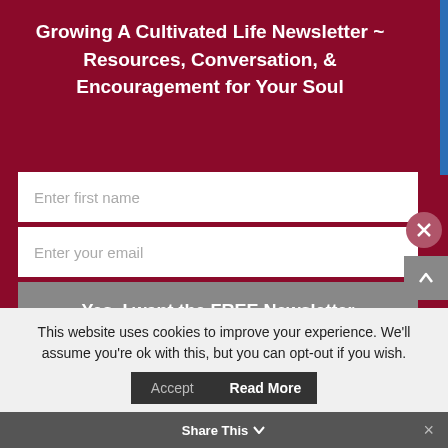Growing A Cultivated Life Newsletter ~ Resources, Conversation, & Encouragement for Your Soul
Enter first name
Enter your email
Yes, I want the FREE Newsletter
advice given on this site is strictly my observations and insights based on personal experiences and study. It should in no way take the place of professional assistance.
This website uses cookies to improve your experience. We'll assume you're ok with this, but you can opt-out if you wish.
Accept
Read More
Share This